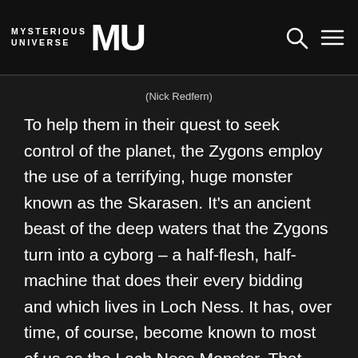MYSTERIOUS UNIVERSE MU
(Nick Redfern)
To help them in their quest to seek control of the planet, the Zygons employ the use of a terrifying, huge monster known as the Skarasen. It's an ancient beast of the deep waters that the Zygons turn into a cyborg – a half-flesh, half-machine that does their every bidding and which lives in Loch Ness. It has, over time, of course, become known to most of us as the Loch Ness Monster. That bidding includes a wave of mysterious and violent attacks on oil-rigs in the North Sea. It's up to Dr. Who and his comrades, Sarah Jane Smith, Harry Sullivan, and Brigadier